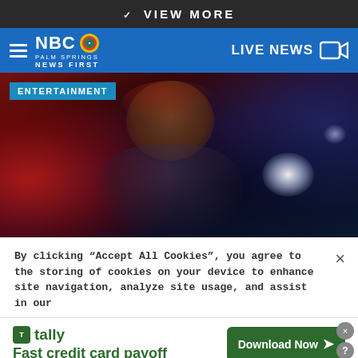VIEW MORE
[Figure (logo): NBC Palm Springs News First logo with navigation bar including hamburger menu and LIVE NEWS camera icon]
[Figure (photo): Entertainment section: cinematic photo of a woman with curly hair looking up, lit by red and blue lights, night scene. ENTERTAINMENT badge overlay top left.]
By clicking “Accept All Cookies”, you agree to the storing of cookies on your device to enhance site navigation, analyze site usage, and assist in our
[Figure (infographic): Tally advertisement banner: green Tally logo, tagline 'Fast credit card payoff', green 'Download Now' button with arrow, close and help icons]